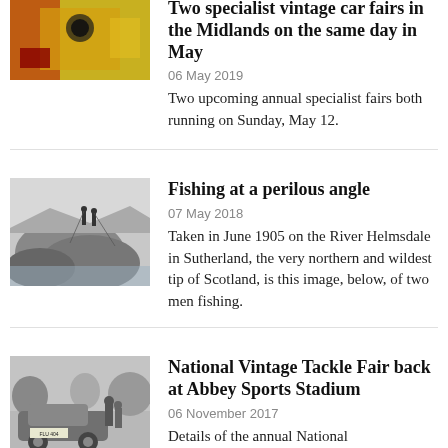[Figure (photo): Close-up photo of yellow and red vintage machine/vehicle parts]
Two specialist vintage car fairs in the Midlands on the same day in May
06 May 2019
Two upcoming annual specialist fairs both running on Sunday, May 12.
[Figure (photo): Black and white photo of two men fishing from a rocky outcrop on a river]
Fishing at a perilous angle
07 May 2018
Taken in June 1905 on the River Helmsdale in Sutherland, the very northern and wildest tip of Scotland, is this image, below, of two men fishing.
[Figure (photo): Black and white photo of a vintage vehicle (registration FLU 404) with figures nearby]
National Vintage Tackle Fair back at Abbey Sports Stadium
06 November 2017
Details of the annual National